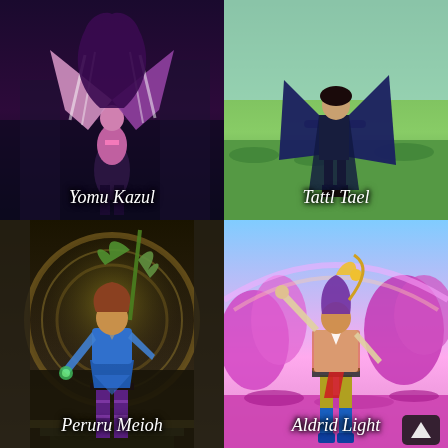[Figure (photo): Video game character screenshot - Yomu Kazul, a character with pink and dark striped wings/cloak in a dark environment]
[Figure (photo): Video game character screenshot - Tattl Tael, a character with dark cape on a grassy outdoor environment]
[Figure (photo): Video game character screenshot - Peruru Meioh, a character in blue outfit with a large decorative background in a dungeon-like setting]
[Figure (photo): Video game character screenshot - Aldrid Light, a character in colorful outfit with yellow pants and blue boots in a pink fantasy environment]